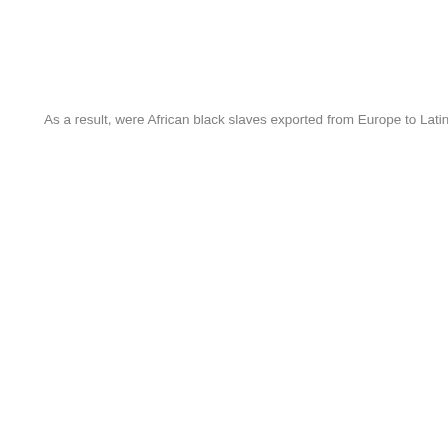As a result, were African black slaves exported from Europe to Latin America an
결과적으로 유럽에서 라틴 아메리카와 그 외 지역으로..